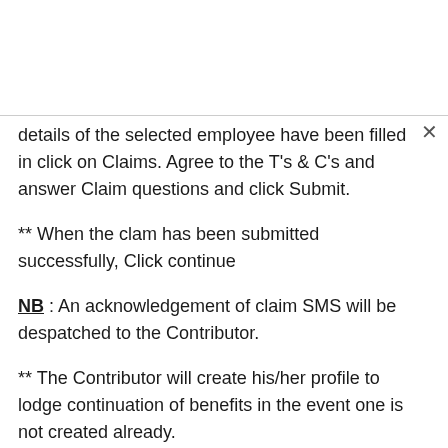details of the selected employee have been filled in click on Claims. Agree to the T's & C's and answer Claim questions and click Submit.
** When the clam has been submitted successfully, Click continue
NB: An acknowledgement of claim SMS will be despatched to the Contributor.
** The Contributor will create his/her profile to lodge continuation of benefits in the event one is not created already.